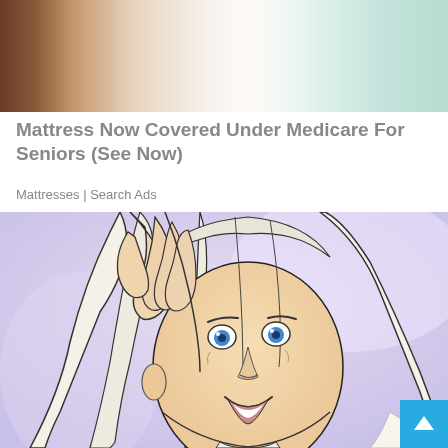[Figure (photo): Photo of a white mattress/bed with white pillows and bedding, partially visible, with warm and cool toned lighting]
Mattress Now Covered Under Medicare For Seniors (See Now)
Mattresses | Search Ads
[Figure (illustration): Illustration/cartoon-style drawing of a woman with blue eyes and long blonde hair, looking stressed or surprised, with one hand running through her hair. Background is a soft lavender/purple gradient.]